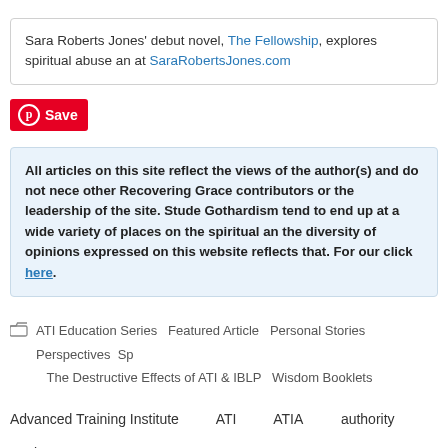Sara Roberts Jones' debut novel, The Fellowship, explores spiritual abuse and... at SaraRobertsJones.com
[Figure (other): Pinterest Save button - red button with Pinterest logo and 'Save' text]
All articles on this site reflect the views of the author(s) and do not necessarily reflect the views of other Recovering Grace contributors or the leadership of the site. Students of Gothardism tend to end up at a wide variety of places on the spiritual and... the diversity of opinions expressed on this website reflects that. For our..., click here.
ATI Education Series  Featured Article  Personal Stories  Perspectives  Sp...  The Destructive Effects of ATI & IBLP  Wisdom Booklets
Advanced Training Institute   ATI   ATIA   authority   Basic S...
false teaching   fear   grace   Homeschool   IBLP   Insti...
legalism   spiritual abuse   standards   Wisdom Booklets